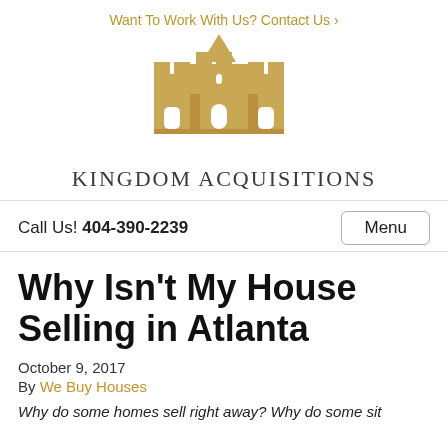Want To Work With Us? Contact Us ›
[Figure (logo): Kingdom Acquisitions castle logo — a stylized golden/tan castle with battlements and a central tower, above the text KINGDOM ACQUISITIONS in serif uppercase letters]
Call Us! 404-390-2239
Menu
Why Isn't My House Selling in Atlanta
October 9, 2017
By We Buy Houses
Why do some homes sell right away? Why do some sit